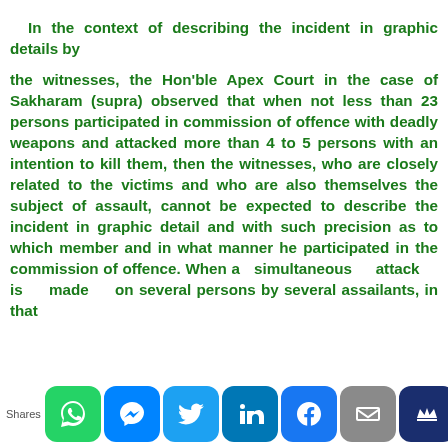In the context of describing the incident in graphic details by the witnesses, the Hon'ble Apex Court in the case of Sakharam (supra) observed that when not less than 23 persons participated in commission of offence with deadly weapons and attacked more than 4 to 5 persons with an intention to kill them, then the witnesses, who are closely related to the victims and who are also themselves the subject of assault, cannot be expected to describe the incident in graphic detail and with such precision as to which member and in what manner he participated in the commission of offence. When a simultaneous attack is made on several persons by several assailants, in that